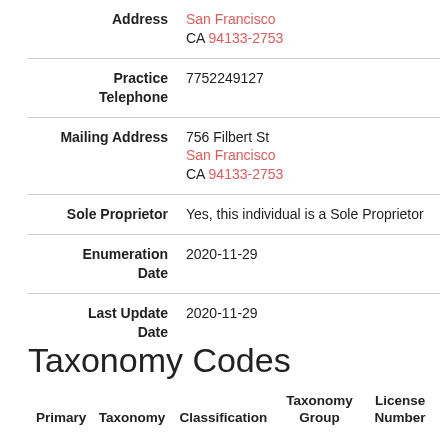| Field | Value |
| --- | --- |
| Address | San Francisco
CA 94133-2753 |
| Practice Telephone | 7752249127 |
| Mailing Address | 756 Filbert St
San Francisco
CA 94133-2753 |
| Sole Proprietor | Yes, this individual is a Sole Proprietor |
| Enumeration Date | 2020-11-29 |
| Last Update Date | 2020-11-29 |
Taxonomy Codes
| Primary | Taxonomy | Classification | Taxonomy Group | License Number |
| --- | --- | --- | --- | --- |